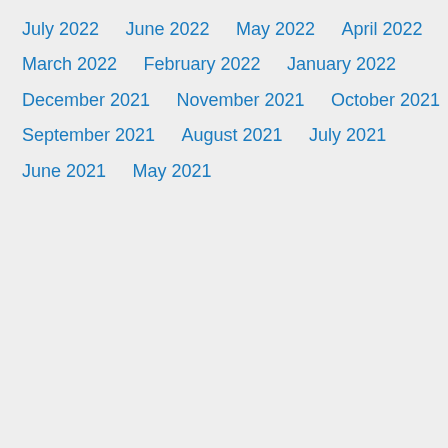July 2022
June 2022
May 2022
April 2022
March 2022
February 2022
January 2022
December 2021
November 2021
October 2021
September 2021
August 2021
July 2021
June 2021
May 2021